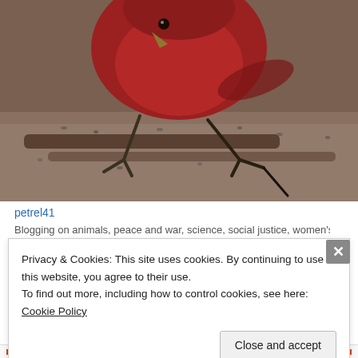[Figure (photo): Close-up photo of a red/crimson bird (possibly a finch or cardinal) standing on ground covered with seeds and twigs, viewed from below/front angle. The bird's body fills the upper portion of the frame with blurred background of twigs and seeds.]
petrel41
Blogging on animals, peace and war, science, social justice, women's
Privacy & Cookies: This site uses cookies. By continuing to use this website, you agree to their use.
To find out more, including how to control cookies, see here: Cookie Policy
Close and accept